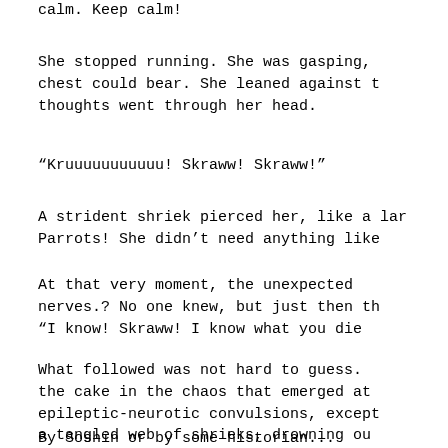calm. Keep calm!
She stopped running. She was gasping, chest could bear. She leaned against t thoughts went through her head.
“Kruuuuuuuuuuu! Skraww! Skraww!”
A strident shriek pierced her, like a lar Parrots! She didn’t need anything like
At that very moment, the unexpected nerves.? No one knew, but just then th “I know! Skraww! I know what you die
What followed was not hard to guess. the cake in the chaos that emerged at epileptic-neurotic convulsions, except a tangled web of shrieks, drowning ou
By Soshin or by some historian...